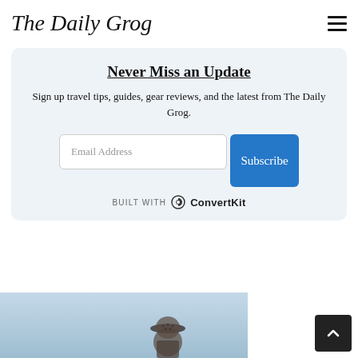The Daily Grog
Never Miss an Update
Sign up travel tips, guides, gear reviews, and the latest from The Daily Grog.
[Figure (screenshot): Email subscription form with Email Address input field and blue Subscribe button, built with ConvertKit logo below]
[Figure (photo): Person wearing a hat, photographed from below against a light sky background, partially cropped at bottom of page]